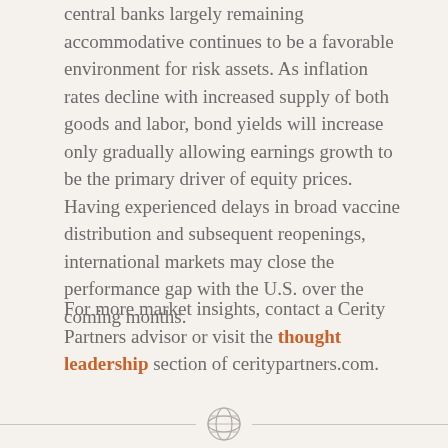central banks largely remaining accommodative continues to be a favorable environment for risk assets. As inflation rates decline with increased supply of both goods and labor, bond yields will increase only gradually allowing earnings growth to be the primary driver of equity prices. Having experienced delays in broad vaccine distribution and subsequent reopenings, international markets may close the performance gap with the U.S. over the coming months.
For more market insights, contact a Cerity Partners advisor or visit the thought leadership section of ceritypartners.com.
[Figure (logo): Cerity Partners decorative divider logo — a geometric sphere/globe icon in grey, flanked by horizontal lines]